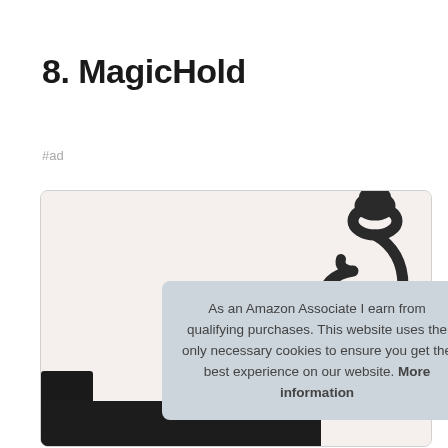8. MagicHold
#ad
[Figure (photo): Product photo showing a MagicHold item with a dark metal hook/chain visible against a light beige background, with dark product components visible at the bottom.]
As an Amazon Associate I earn from qualifying purchases. This website uses the only necessary cookies to ensure you get the best experience on our website. More information